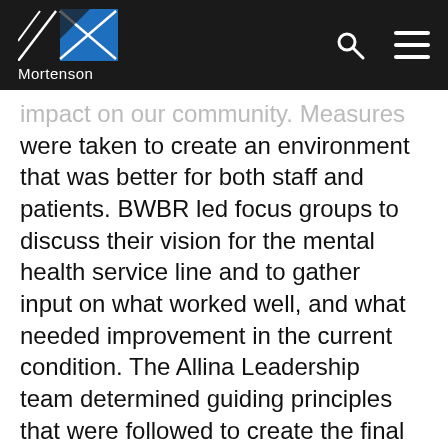Mortenson
impact on our community. Measures were taken to create an environment that was better for both staff and patients. BWBR led focus groups to discuss their vision for the mental health service line and to gather input on what worked well, and what needed improvement in the current condition. The Allina Leadership team determined guiding principles that were followed to create the final design. Those Guiding Principles focused on creating a Center of